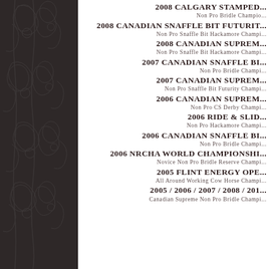[Figure (illustration): Dark brown decorative sidebar with embossed floral/scroll pattern]
2008 CALGARY STAMPED...
Non Pro Bridle Champio...
2008 CANADIAN SNAFFLE BIT FUTURIT...
Non Pro Snaffle Bit Hackamore Champi...
2008 CANADIAN SUPREM...
Non Pro Snaffle Bit Hackamore Champi...
2007 CANADIAN SNAFFLE BI...
Non Pro Bridle Champi...
2007 CANADIAN SUPREM...
Non Pro Snaffle Bit Futurity Champi...
2006 CANADIAN SUPREM...
Non Pro CS Derby Champi...
2006 RIDE & SLID...
Non Pro Hackamore Champi...
2006 CANADIAN SNAFFLE BI...
Non Pro Bridle Champi...
2006 NRCHA WORLD CHAMPIONSHI...
Novice Non Pro Bridle Reserve Champi...
2005 FLINT ENERGY OPE...
All Around Working Cow Horse Champi...
2005 / 2006 / 2007 / 2008 / 201...
Canadian Supreme Non Pro Bridle Champi...